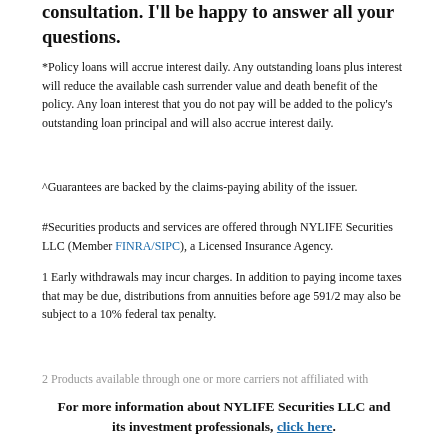consultation. I'll be happy to answer all your questions.
*Policy loans will accrue interest daily. Any outstanding loans plus interest will reduce the available cash surrender value and death benefit of the policy. Any loan interest that you do not pay will be added to the policy's outstanding loan principal and will also accrue interest daily.
^Guarantees are backed by the claims-paying ability of the issuer.
#Securities products and services are offered through NYLIFE Securities LLC (Member FINRA/SIPC), a Licensed Insurance Agency.
1 Early withdrawals may incur charges. In addition to paying income taxes that may be due, distributions from annuities before age 591/2 may also be subject to a 10% federal tax penalty.
2 Products available through one or more carriers not affiliated with
For more information about NYLIFE Securities LLC and its investment professionals, click here.